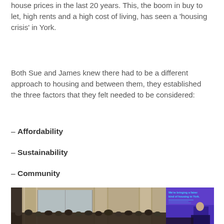house prices in the last 20 years. This, the boom in buy to let, high rents and a high cost of living, has seen a 'housing crisis' in York.
Both Sue and James knew there had to be a different approach to housing and between them, they established the three factors that they felt needed to be considered:
– Affordability
– Sustainability
– Community
[Figure (photo): Left: interior of a historic stone church/hall with stone columns and arched windows, filled with a seated audience at an event. Right: a speaker at a podium in front of a projected blue slide reading 'We're bringing a fairer kind of housing to York.']